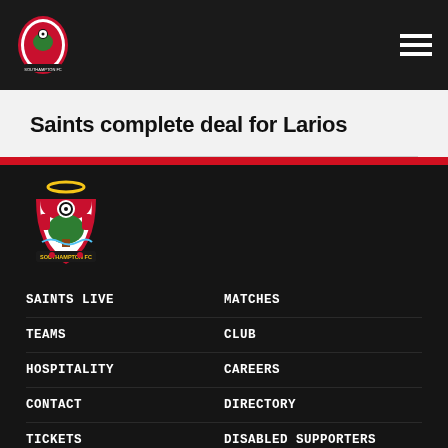Southampton FC website header with logo and hamburger menu
Saints complete deal for Larios
[Figure (logo): Southampton FC crest logo in footer]
SAINTS LIVE
MATCHES
TEAMS
CLUB
HOSPITALITY
CAREERS
CONTACT
DIRECTORY
TICKETS
DISABLED SUPPORTERS
SAFEGUARDING – BARNARDO'S
SUSTAINABILITY STRATEGY